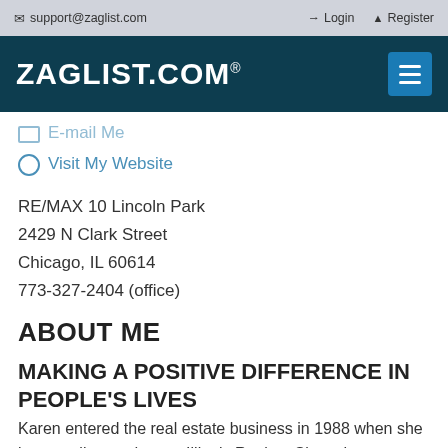support@zaglist.com   Login   Register
ZAGLIST.COM®
E-mail Me
Visit My Website
RE/MAX 10 Lincoln Park
2429 N Clark Street
Chicago, IL 60614
773-327-2404 (office)
ABOUT ME
MAKING A POSITIVE DIFFERENCE IN PEOPLE'S LIVES
Karen entered the real estate business in 1988 when she became licensed as an Illinois Realtor. Since then